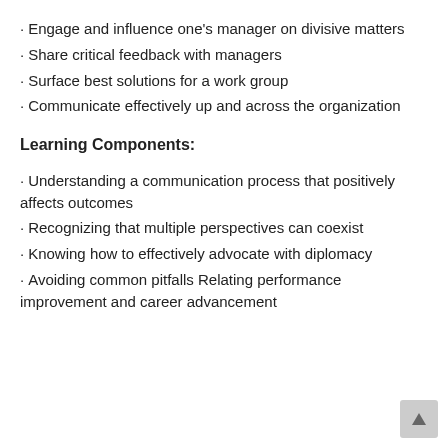Engage and influence one's manager on divisive matters
Share critical feedback with managers
Surface best solutions for a work group
Communicate effectively up and across the organization
Learning Components:
Understanding a communication process that positively affects outcomes
Recognizing that multiple perspectives can coexist
Knowing how to effectively advocate with diplomacy
Avoiding common pitfalls Relating performance improvement and career advancement